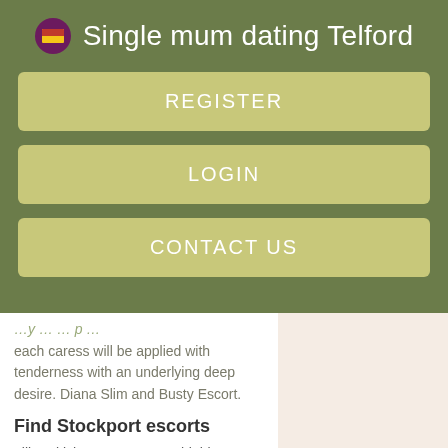Single mum dating Telford
REGISTER
LOGIN
CONTACT US
each caress will be applied with tenderness with an underlying deep desire. Diana Slim and Busty Escort.
Find Stockport escorts
Lilly British Escort. We are highly respected for our quality of